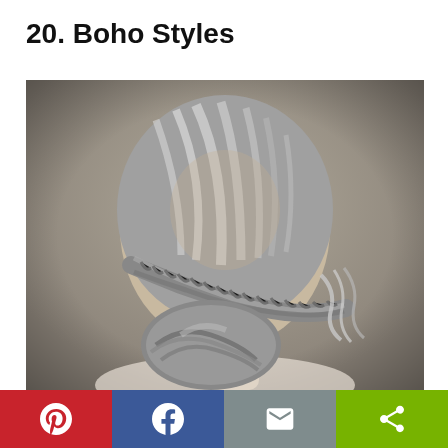20. Boho Styles
[Figure (photo): Back view of a woman with silver-gray hair styled in a boho updo featuring a fishtail braid and twisted low bun with loose wavy tendrils]
[Figure (infographic): Social sharing bar with four buttons: Pinterest (red), Facebook (blue), Email (gray), Share (green)]